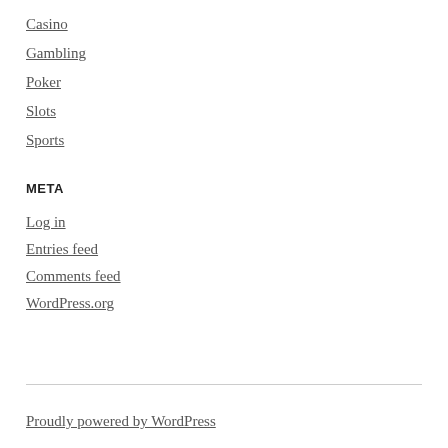Casino
Gambling
Poker
Slots
Sports
META
Log in
Entries feed
Comments feed
WordPress.org
Proudly powered by WordPress